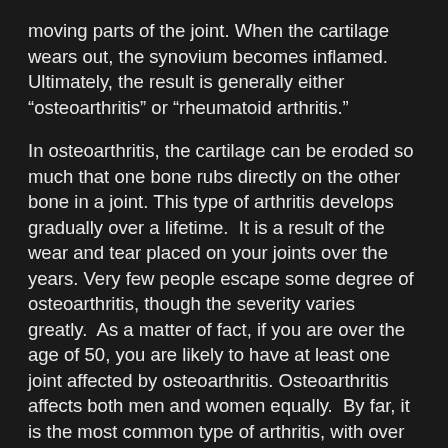moving parts of the joint. When the cartilage wears out, the synovium becomes inflamed.  Ultimately, the result is generally either “osteoarthritis” or “rheumatoid arthritis.”
In osteoarthritis, the cartilage can be eroded so much that one bone rubs directly on the other bone in a joint. This type of arthritis develops gradually over a lifetime.  It is a result of the wear and tear placed on your joints over the years. Very few people escape some degree of osteoarthritis, though the severity varies greatly.  As a matter of fact, if you are over the age of 50, you are likely to have at least one joint affected by osteoarthritis. Osteoarthritis affects both men and women equally.  By far, it is the most common type of arthritis, with over 16 million Americans sufferers.
Rheumatoid arthritis involves damage to the synovium